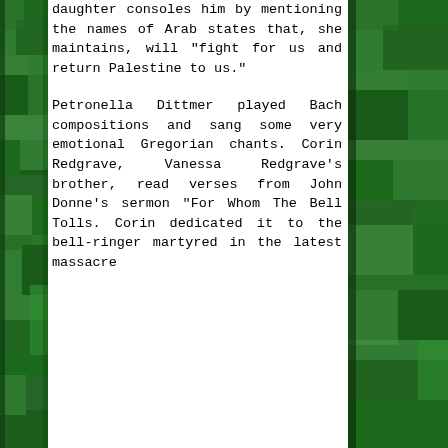[Figure (photo): Green nature/foliage photo strip on the left side of the page]
daughter consoles him by mentioning the names of Arab states that, she maintains, will "fight for us and return Palestine to us."
Petronella Dittmer played Bach compositions and sang some very emotional Gregorian chants. Corin Redgrave, Vanessa Redgrave's brother, read verses from John Donne's sermon "For Whom The Bell Tolls. Corin dedicated it to the bell-ringer martyred in the latest massacre
[Figure (photo): Green nature/foliage photo strip on the right side of the page]